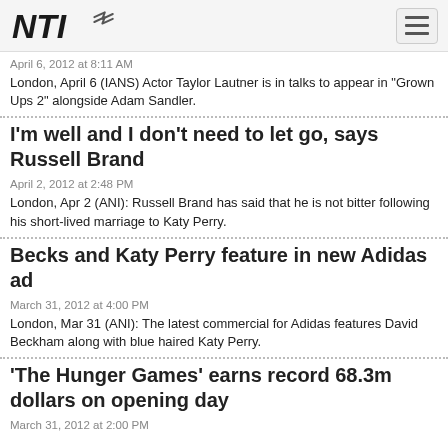NTI [logo]
April 6, 2012 at 8:11 AM
London, April 6 (IANS) Actor Taylor Lautner is in talks to appear in "Grown Ups 2" alongside Adam Sandler.
I'm well and I don't need to let go, says Russell Brand
April 2, 2012 at 2:48 PM
London, Apr 2 (ANI): Russell Brand has said that he is not bitter following his short-lived marriage to Katy Perry.
Becks and Katy Perry feature in new Adidas ad
March 31, 2012 at 4:00 PM
London, Mar 31 (ANI): The latest commercial for Adidas features David Beckham along with blue haired Katy Perry.
'The Hunger Games' earns record 68.3m dollars on opening day
March 31, 2012 at 2:00 PM